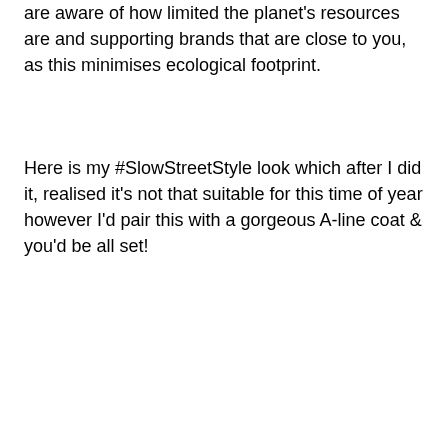are aware of how limited the planet's resources are and supporting brands that are close to you, as this minimises ecological footprint.
Here is my #SlowStreetStyle look which after I did it, realised it's not that suitable for this time of year however I'd pair this with a gorgeous A-line coat & you'd be all set!